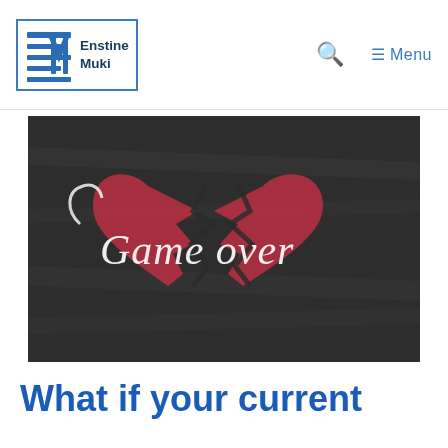Enstine Muki — Search — Menu
[Figure (photo): Dark chalkboard background with a broken red heart drawn in chalk. White chalk handwriting reads 'Game over' across the heart.]
What if your current